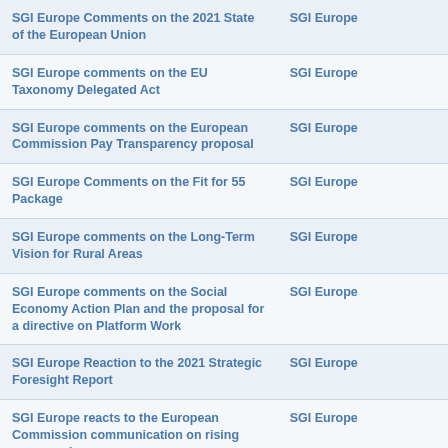| Title | Organization |
| --- | --- |
| SGI Europe Comments on the 2021 State of the European Union | SGI Europe |
| SGI Europe comments on the EU Taxonomy Delegated Act | SGI Europe |
| SGI Europe comments on the European Commission Pay Transparency proposal | SGI Europe |
| SGI Europe Comments on the Fit for 55 Package | SGI Europe |
| SGI Europe comments on the Long-Term Vision for Rural Areas | SGI Europe |
| SGI Europe comments on the Social Economy Action Plan and the proposal for a directive on Platform Work | SGI Europe |
| SGI Europe Reaction to the 2021 Strategic Foresight Report | SGI Europe |
| SGI Europe reacts to the European Commission communication on rising energy prices | SGI Europe |